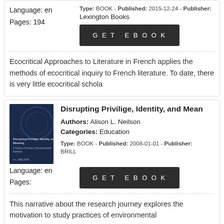Type: BOOK - Published: 2015-12-24 - Publisher: Lexington Books
Language: en
Pages: 194
GET EBOOK
Ecocritical Approaches to Literature in French applies the methods of ecocritical inquiry to French literature. To date, there is very little ecocritical schola
Disrupting Privilige, Identity, and Mean
Authors: Alison L. Neilson
Categories: Education
Type: BOOK - Published: 2008-01-01 - Publisher: BRILL
Language: en
Pages:
GET EBOOK
This narrative about the research journey explores the motivation to study practices of environmental